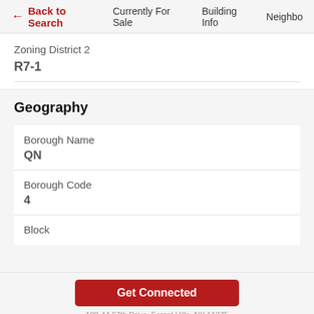← Back to Search   Currently For Sale   Building Info   Neighbo
Zoning District 2
R7-1
Geography
Borough Name
QN
Borough Code
4
Block
Get Connected
100-44 67th Drive, Forest Hills, NY 11375